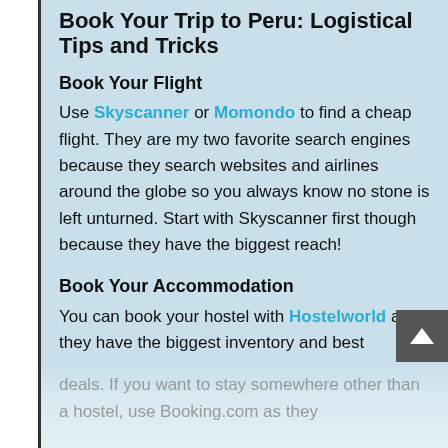Book Your Trip to Peru: Logistical Tips and Tricks
Book Your Flight
Use Skyscanner or Momondo to find a cheap flight. They are my two favorite search engines because they search websites and airlines around the globe so you always know no stone is left unturned. Start with Skyscanner first though because they have the biggest reach!
Book Your Accommodation
You can book your hostel with Hostelworld as they have the biggest inventory and best deals. If you want to stay somewhere other than a hostel, use Booking.com as they